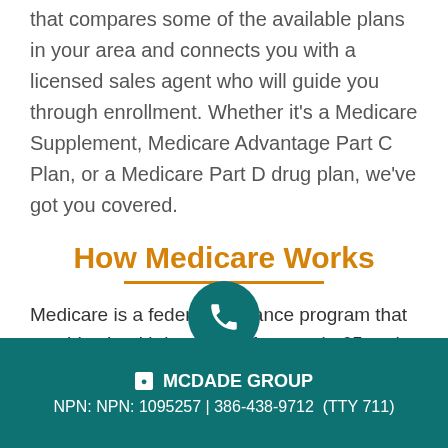that compares some of the available plans in your area and connects you with a licensed sales agent who will guide you through enrollment. Whether it's a Medicare Supplement, Medicare Advantage Part C Plan, or a Medicare Part D drug plan, we've got you covered.
How Medicare Works
Medicare is a federal insurance program that provides health insurance for people 65 and older and individuals younger than 65 who may qualify due to certain disabilities. There are four different p...dicare — Part A, B, C,
MCDADE GROUP
NPN: NPN: 1095257 | 386-438-9712  (TTY 711)